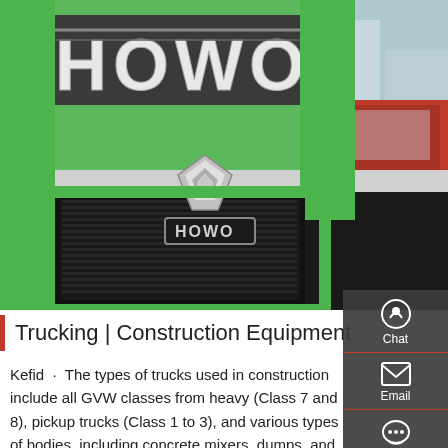[Figure (photo): Close-up photo of a green HOWO truck front grille with the HOWO brand logo in silver letters on a black background. A red truck is partially visible on the right side.]
Trucking | Construction Equipment
Kefid · The types of trucks used in construction include all GVW classes from heavy (Class 7 and 8), pickup trucks (Class 1 to 3), and various types of bodies, including concrete mixers, dumps, and water trucks. Trailers are used to haul equipment and materials, and service trucks help keep fleets up and running. Heavy trucks are used on road and off